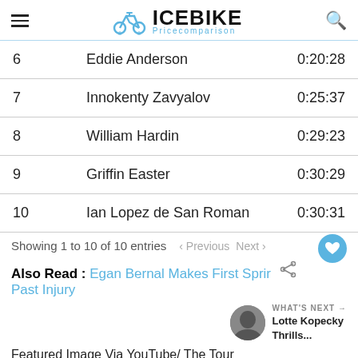ICEBIKE Pricecomparison
| # | Name | Time |
| --- | --- | --- |
| 6 | Eddie Anderson | 0:20:28 |
| 7 | Innokenty Zavyalov | 0:25:37 |
| 8 | William Hardin | 0:29:23 |
| 9 | Griffin Easter | 0:30:29 |
| 10 | Ian Lopez de San Roman | 0:30:31 |
Showing 1 to 10 of 10 entries   < Previous  Next
Also Read : Egan Bernal Makes First Sprin Past Injury
WHAT'S NEXT → Lotte Kopecky Thrills...
Featured Image Via YouTube/ The Tour